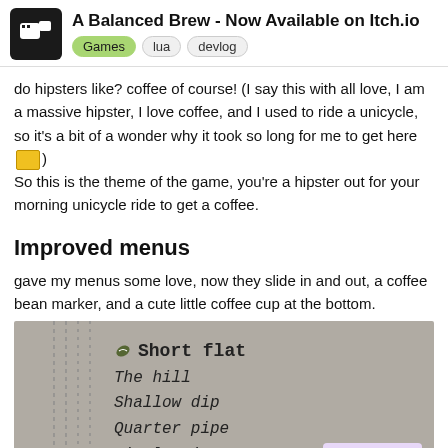A Balanced Brew - Now Available on Itch.io | Games | lua | devlog
do hipsters like? coffee of course! (I say this with all love, I am a massive hipster, I love coffee, and I used to ride a unicycle, so it's a bit of a wonder why it took so long for me to get here 🎮)
So this is the theme of the game, you're a hipster out for your morning unicycle ride to get a coffee.
Improved menus
gave my menus some love, now they slide in and out, a coffee bean marker, and a cute little coffee cup at the bottom.
[Figure (screenshot): Game screenshot showing a menu with items: Short flat (selected, bold with coffee bean icon), The hill, Shallow dip, Quarter pipe, Little zigs, Big down, Kick up. Grey background with dotted lines on the left side. Page counter showing 11/16 in purple on light purple background.]